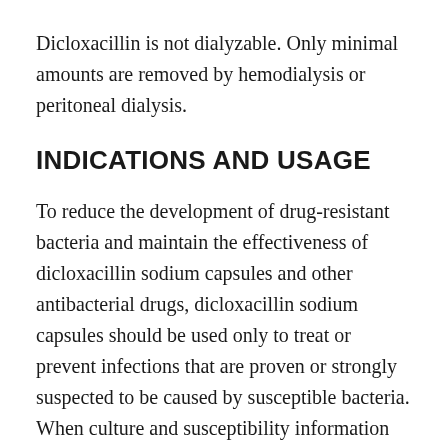Dicloxacillin is not dialyzable. Only minimal amounts are removed by hemodialysis or peritoneal dialysis.
INDICATIONS AND USAGE
To reduce the development of drug-resistant bacteria and maintain the effectiveness of dicloxacillin sodium capsules and other antibacterial drugs, dicloxacillin sodium capsules should be used only to treat or prevent infections that are proven or strongly suspected to be caused by susceptible bacteria. When culture and susceptibility information are available, they should be considered in selecting